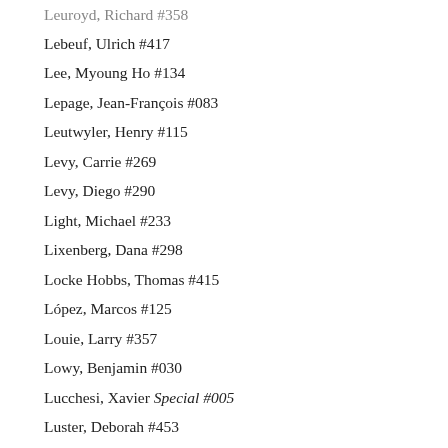Leuroyd, Richard #358
Lebeuf, Ulrich #417
Lee, Myoung Ho #134
Lepage, Jean-François #083
Leutwyler, Henry #115
Levy, Carrie #269
Levy, Diego #290
Light, Michael #233
Lixenberg, Dana #298
Locke Hobbs, Thomas #415
López, Marcos #125
Louie, Larry #357
Lowy, Benjamin #030
Lucchesi, Xavier Special #005
Luster, Deborah #453
MacKay, Finlay #328
Madoz, Chema #231
Mai, Adeline #044